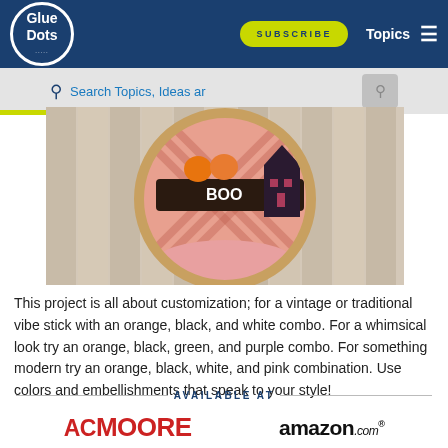Glue Dots | SUBSCRIBE | Topics
Search Topics, Ideas ar
[Figure (photo): A circular embroidery hoop decorated with Halloween-themed fabric including plaid pattern in pink/orange, black cutout shapes of a haunted house and pumpkins with BOO text, hung on a wooden background.]
This project is all about customization; for a vintage or traditional vibe stick with an orange, black, and white combo. For a whimsical look try an orange, black, green, and purple combo. For something modern try an orange, black, white, and pink combination. Use colors and embellishments that speak to your style!
AVAILABLE AT
[Figure (logo): AC MOORE logo in red]
[Figure (logo): amazon.com logo in black]